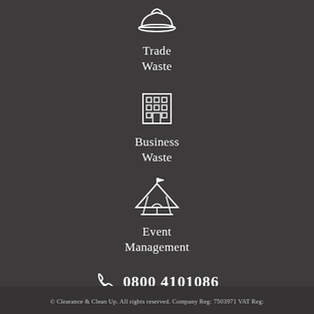[Figure (illustration): Hard hat / construction helmet icon in white outline style]
Trade
Waste
[Figure (illustration): Office building / business icon in white outline style]
Business
Waste
[Figure (illustration): Event tent / circus tent icon with flag in white outline style]
Event
Management
0800 4101086
[Figure (illustration): Social media icons: Facebook, Twitter, LinkedIn, YouTube]
© Clearance & Clean Up. All rights reserved. Company Reg: 7503971 VAT Reg: